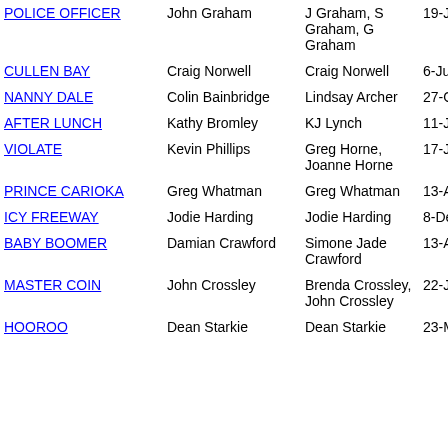| Title | Owner | Applicant | Date |
| --- | --- | --- | --- |
| POLICE OFFICER | John Graham | J Graham, S Graham, G Graham | 19-Jan-200 |
| CULLEN BAY | Craig Norwell | Craig Norwell | 6-Jul-1999 |
| NANNY DALE | Colin Bainbridge | Lindsay Archer | 27-Oct-200 |
| AFTER LUNCH | Kathy Bromley | KJ Lynch | 11-Jul-199 |
| VIOLATE | Kevin Phillips | Greg Horne, Joanne Horne | 17-Jun-200 |
| PRINCE CARIOKA | Greg Whatman | Greg Whatman | 13-Apr-199 |
| ICY FREEWAY | Jodie Harding | Jodie Harding | 8-Dec-200 |
| BABY BOOMER | Damian Crawford | Simone Jade Crawford | 13-Apr-200 |
| MASTER COIN | John Crossley | Brenda Crossley, John Crossley | 22-Jul-200 |
| HOOROO | Dean Starkie | Dean Starkie | 23-Mar-200 |